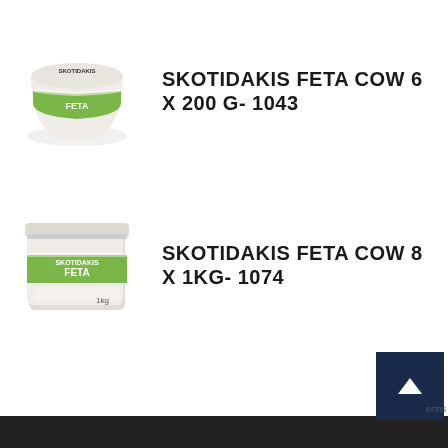[Figure (photo): Skotidakis Feta Cow round white container with green label]
SKOTIDAKIS FETA COW 6 X 200 G- 1043
[Figure (photo): Skotidakis Feta Cow rectangular white container with green label]
SKOTIDAKIS FETA COW 8 X 1KG- 1074